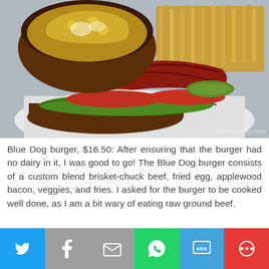[Figure (photo): A Blue Dog burger open-faced on a white plate showing a toasted bun with melted egg on top, alongside burger patty with bacon, lettuce, tomato, pickles, and a side of french fries.]
Blue Dog burger, $16.50: After ensuring that the burger had no dairy in it, I was good to go! The Blue Dog burger consists of a custom blend brisket-chuck beef, fried egg, applewood bacon, veggies, and fries. I asked for the burger to be cooked well done, as I am a bit wary of eating raw ground beef.